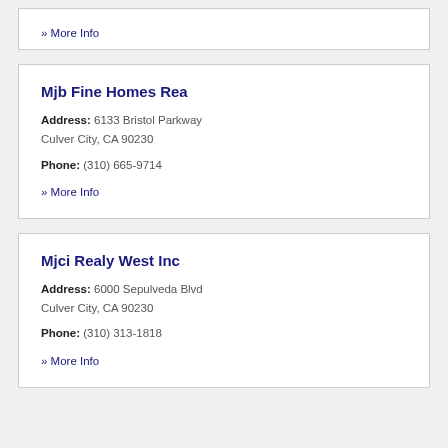» More Info
Mjb Fine Homes Rea
Address: 6133 Bristol Parkway Culver City, CA 90230
Phone: (310) 665-9714
» More Info
Mjci Realy West Inc
Address: 6000 Sepulveda Blvd Culver City, CA 90230
Phone: (310) 313-1818
» More Info